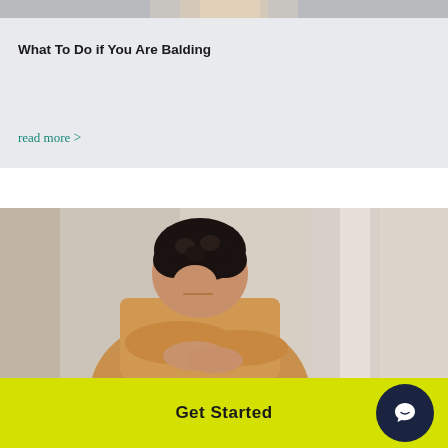[Figure (photo): Partial view of a person showing hands/arms at top of page, cropped]
What To Do if You Are Balding
read more >
[Figure (photo): A man with dark curly hair wearing a tan/beige shirt, leaning forward with his head bowed and hands clasped together, suggesting distress or sadness]
Get Started